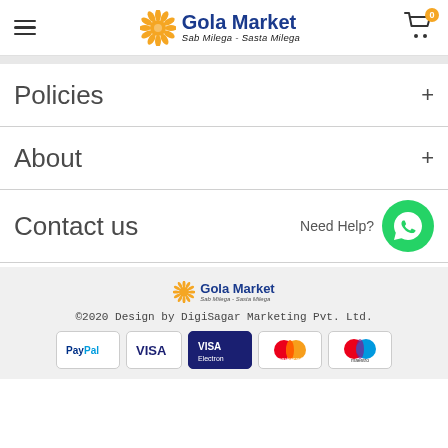[Figure (logo): Gola Market logo with orange sunflower icon and text 'Gola Market - Sab Milega - Sasta Milega']
Policies
About
Contact us
[Figure (logo): Gola Market footer logo]
©2020 Design by DigiSagar Marketing Pvt. Ltd.
[Figure (other): Payment method icons: PayPal, VISA, VISA Electron, Mastercard, Maestro]